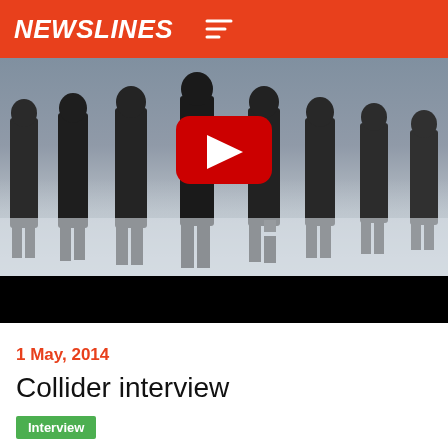NEWSLINES
[Figure (screenshot): Video thumbnail showing silhouettes of football/soccer players walking through fog or smoke, with a YouTube play button overlay. The lower portion of the video area is a black bar.]
1 May, 2014
Collider interview
Interview